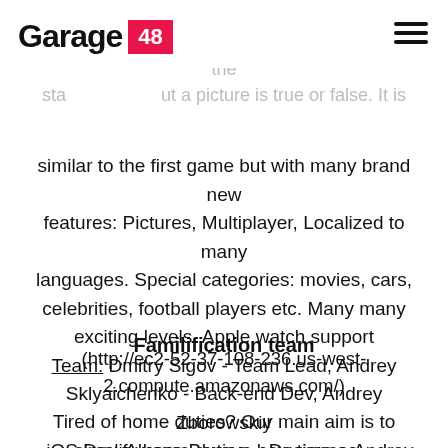Garage 48
sophisticated game called: True or False Picks. The idea is very simple. User has to guess whether the statement about a picture is true or false. It is similar to the first game but with many brand new features: Pictures, Multiplayer, Localized to many languages. Special categories: movies, cars, celebrities, football players etc. Many many exciting levels. Apple watch support Team: Dmitry Sigov - Team Lead, Andrey Sklyaichenko - Back-end Dev, Andrey Zborowskiy - iOS Dev, Alyona Boyeva - Designer, Andrey Labunsky - PM
Familification team
(http://ec2-52-37-108-236.us-west-2.compute.amazonaws.com/)
Tired of home duties? Our main aim is to simplify home duties, how time saves and